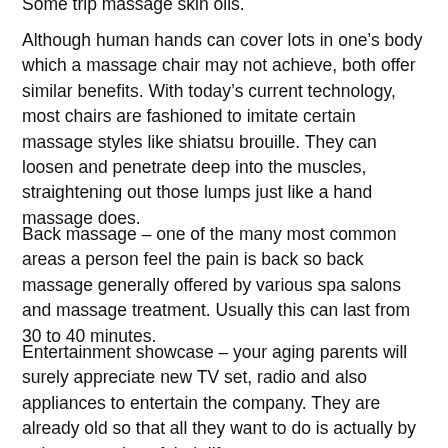Some trip massage skin oils.
Although human hands can cover lots in one’s body which a massage chair may not achieve, both offer similar benefits. With today’s current technology, most chairs are fashioned to imitate certain massage styles like shiatsu brouille. They can loosen and penetrate deep into the muscles, straightening out those lumps just like a hand massage does.
Back massage – one of the many most common areas a person feel the pain is back so back massage generally offered by various spa salons and massage treatment. Usually this can last from 30 to 40 minutes.
Entertainment showcase – your aging parents will surely appreciate new TV set, radio and also appliances to entertain the company. They are already old so that all they want to do is actually by enjoy every day of their life